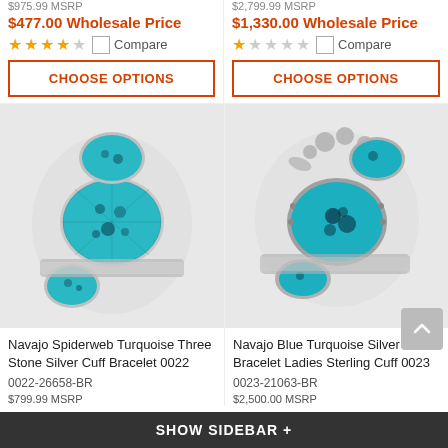$975.99 MSRP
$2,799.99 MSRP
$477.00 Wholesale Price
$1,330.00 Wholesale Price
[Figure (infographic): Star rating row left: 4 full stars, 1 empty star; Compare checkbox]
[Figure (infographic): Star rating row right: 1 full star, 4 empty stars; Compare checkbox]
CHOOSE OPTIONS
CHOOSE OPTIONS
[Figure (photo): Navajo Spiderweb Turquoise Three Stone Silver Cuff Bracelet 0022 - silver bracelet with three large turquoise stones with spiderweb pattern]
[Figure (photo): Navajo Blue Turquoise Silver Bracelet Ladies Sterling Cuff 0023 - silver bracelet with floral details and blue turquoise stones]
Navajo Spiderweb Turquoise Three Stone Silver Cuff Bracelet 0022
Navajo Blue Turquoise Silver Bracelet Ladies Sterling Cuff 0023
0022-26658-BR
0023-21063-BR
SHOW SIDEBAR +